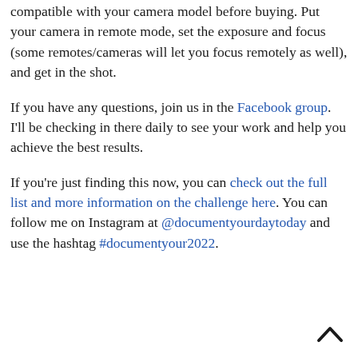compatible with your camera model before buying. Put your camera in remote mode, set the exposure and focus (some remotes/cameras will let you focus remotely as well), and get in the shot.
If you have any questions, join us in the Facebook group. I'll be checking in there daily to see your work and help you achieve the best results.
If you're just finding this now, you can check out the full list and more information on the challenge here. You can follow me on Instagram at @documentyourdaytoday and use the hashtag #documentyour2022.